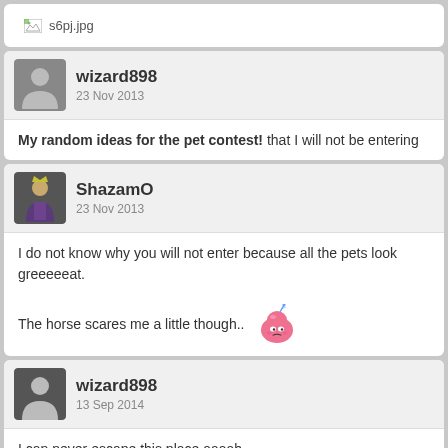[Figure (screenshot): Broken image placeholder showing filename s6pj.jpg]
wizard898
23 Nov 2013
My random ideas for the pet contest! that I will not be entering
ShazamO
23 Nov 2013
I do not know why you will not enter because all the pets look greeeeeat.

The horse scares me a little though..
wizard898
13 Sep 2014
I can never escape this place aaaah